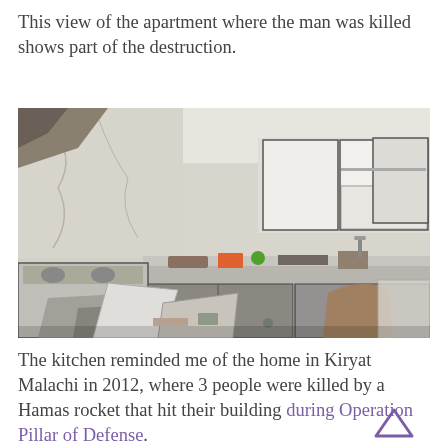This view of the apartment where the man was killed shows part of the destruction.
[Figure (photo): Photograph of a destroyed apartment kitchen showing damaged cabinets, debris scattered across countertops and floor, leaning furniture and rubble.]
The kitchen reminded me of the home in Kiryat Malachi in 2012, where 3 people were killed by a Hamas rocket that hit their building during Operation Pillar of Defense.